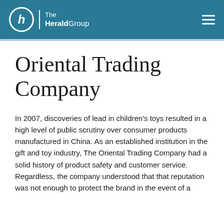The HeraldGroup
Oriental Trading Company
In 2007, discoveries of lead in children's toys resulted in a high level of public scrutiny over consumer products manufactured in China. As an established institution in the gift and toy industry, The Oriental Trading Company had a solid history of product safety and customer service. Regardless, the company understood that that reputation was not enough to protect the brand in the event of a